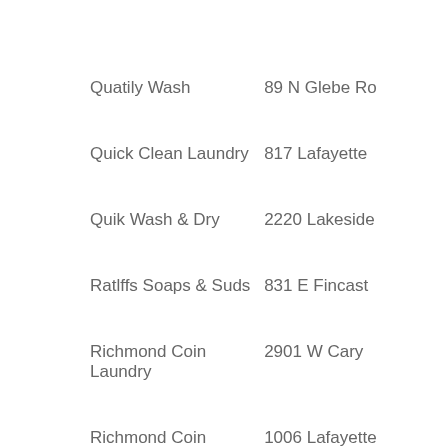Quatily Wash | 89 N Glebe Ro
Quick Clean Laundry | 817 Lafayette
Quik Wash & Dry | 2220 Lakeside
Ratlffs Soaps & Suds | 831 E Fincast
Richmond Coin Laundry | 2901 W Cary
Richmond Coin Laundry | 1006 Lafayette
Riverside Dry Cleaning & Laundry | 3234 Riverside
Rudy's Dry Cleaners | 113 Maury Ave